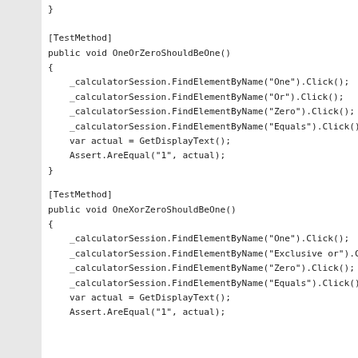}
[TestMethod]
public void OneOrZeroShouldBeOne()
{
    _calculatorSession.FindElementByName("One").Click();
    _calculatorSession.FindElementByName("Or").Click();
    _calculatorSession.FindElementByName("Zero").Click();
    _calculatorSession.FindElementByName("Equals").Click();
    var actual = GetDisplayText();
    Assert.AreEqual("1", actual);
}
[TestMethod]
public void OneXorZeroShouldBeOne()
{
    _calculatorSession.FindElementByName("One").Click();
    _calculatorSession.FindElementByName("Exclusive or").C...
    _calculatorSession.FindElementByName("Zero").Click();
    _calculatorSession.FindElementByName("Equals").Click();
    var actual = GetDisplayText();
    Assert.AreEqual("1", actual);